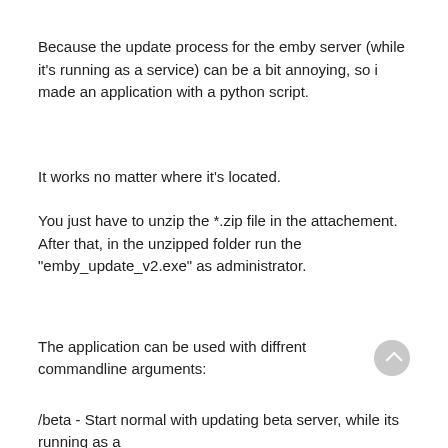Because the update process for the emby server (while it's running as a service) can be a bit annoying, so i made an application with a python script.
It works no matter where it's located.
You just have to unzip the *.zip file in the attachement. After that, in the unzipped folder run the "emby_update_v2.exe" as administrator.
The application can be used with diffrent commandline arguments:
/beta - Start normal with updating beta server, while its running as a